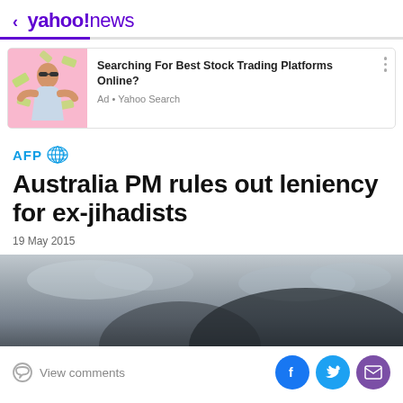< yahoo!news
[Figure (photo): Advertisement card with photo of man in sunglasses throwing money, pink background. Text: Searching For Best Stock Trading Platforms Online? Ad • Yahoo Search]
[Figure (logo): AFP logo with globe icon]
Australia PM rules out leniency for ex-jihadists
19 May 2015
[Figure (photo): Grey moody sky photo]
View comments